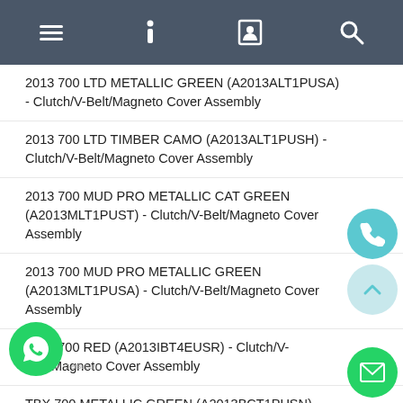Navigation bar with menu, info, contact, search icons
2013 700 LTD METALLIC GREEN (A2013ALT1PUSA) - Clutch/V-Belt/Magneto Cover Assembly
2013 700 LTD TIMBER CAMO (A2013ALT1PUSH) - Clutch/V-Belt/Magneto Cover Assembly
2013 700 MUD PRO METALLIC CAT GREEN (A2013MLT1PUST) - Clutch/V-Belt/Magneto Cover Assembly
2013 700 MUD PRO METALLIC GREEN (A2013MLT1PUSA) - Clutch/V-Belt/Magneto Cover Assembly
2013 700 RED (A2013IBT4EUSR) - Clutch/V-Belt/Magneto Cover Assembly
TBX 700 METALLIC GREEN (A2013BCT1PUSN) - Clutch/V-Belt/Magneto Cover Assembly